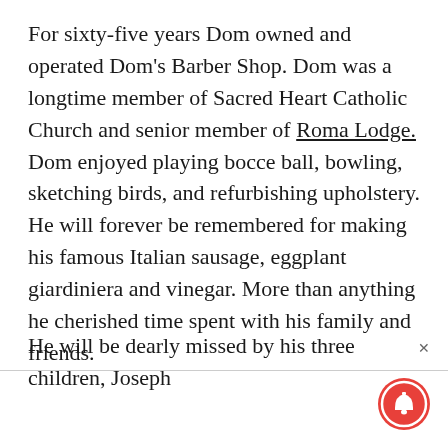For sixty-five years Dom owned and operated Dom's Barber Shop.  Dom was a longtime member of Sacred Heart Catholic Church and senior member of Roma Lodge.  Dom enjoyed playing bocce ball, bowling, sketching birds, and refurbishing upholstery.  He will forever be remembered for making his famous Italian sausage, eggplant giardiniera and vinegar.  More than anything he cherished time spent with his family and friends.
He will be dearly missed by his three children, Joseph